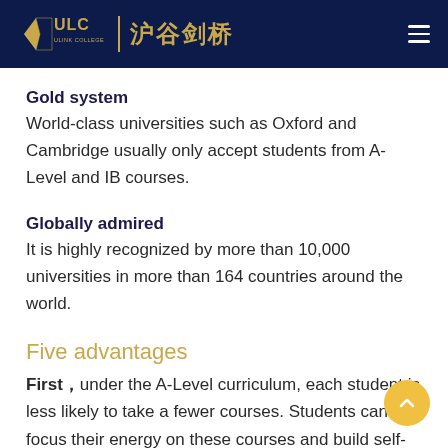ULC ULINK COLLEGE | 沪谷剑桥
Gold system
World-class universities such as Oxford and Cambridge usually only accept students from A-Level and IB courses.
Globally admired
It is highly recognized by more than 10,000 universities in more than 164 countries around the world.
Five advantages
First，under the A-Level curriculum, each student is less likely to take a fewer courses. Students can focus their energy on these courses and build self-confidence as a result of